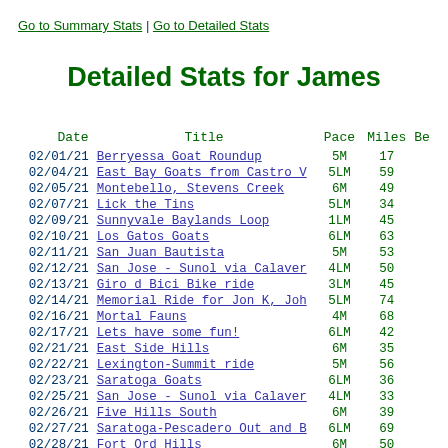Go to Summary Stats | Go to Detailed Stats
Detailed Stats for James
| Date | Title | Pace | Miles | Be |
| --- | --- | --- | --- | --- |
| 02/01/21 | Berryessa Goat Roundup | 5M | 17 |  |
| 02/04/21 | East Bay Goats from Castro V | 5LM | 59 |  |
| 02/05/21 | Montebello, Stevens Creek | 6M | 49 |  |
| 02/07/21 | Lick the Tins | 5LM | 34 |  |
| 02/09/21 | Sunnyvale Baylands Loop | 1LM | 45 |  |
| 02/10/21 | Los Gatos Goats | 6LM | 63 |  |
| 02/11/21 | San Juan Bautista | 5M | 53 |  |
| 02/12/21 | San Jose - Sunol via Calaver | 4LM | 50 |  |
| 02/13/21 | Giro d Bici Bike ride | 3LM | 45 |  |
| 02/14/21 | Memorial Ride for Jon K, Joh | 5LM | 74 |  |
| 02/16/21 | Mortal Fauns | 4M | 68 |  |
| 02/17/21 | Lets have some fun! | 6LM | 42 |  |
| 02/21/21 | East Side Hills | 6M | 35 |  |
| 02/22/21 | Lexington-Summit ride | 5M | 56 |  |
| 02/23/21 | Saratoga Goats | 6LM | 36 |  |
| 02/25/21 | San Jose - Sunol via Calaver | 4LM | 33 |  |
| 02/26/21 | Five Hills South | 6M | 39 |  |
| 02/27/21 | Saratoga-Pescadero Out and B | 6LM | 69 |  |
| 02/28/21 | Fort Ord Hills | 6M | 50 |  |
| 03/01/21 | M&M Rollers West Hills | 6LM | 25 |  |
| 03/02/21 | Lexington Goats | 6LM | 56 |  |